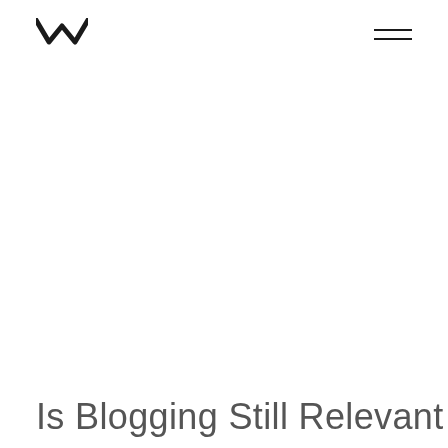W [logo] | hamburger menu
Is Blogging Still Relevant in